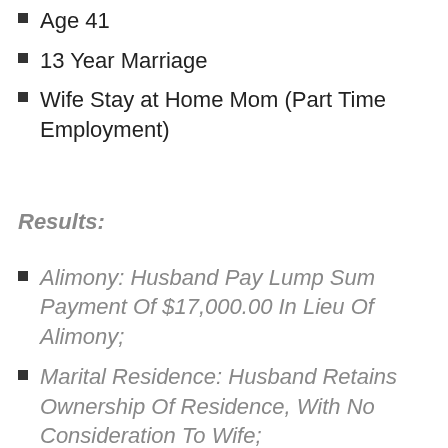Age 41
13 Year Marriage
Wife Stay at Home Mom (Part Time Employment)
Results:
Alimony: Husband Pay Lump Sum Payment Of $17,000.00 In Lieu Of Alimony;
Marital Residence: Husband Retains Ownership Of Residence, With No Consideration To Wife;
Husband's Business: Husband Retains Ownership Of Business,